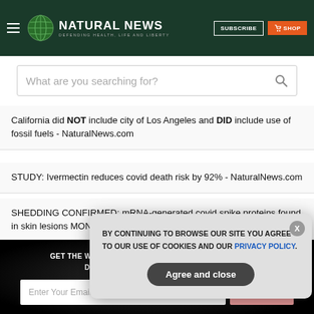NATURAL NEWS - DEFENDING HEALTH, LIFE AND LIBERTY | SUBSCRIBE | SHOP
What are you searching for?
California did NOT include city of Los Angeles and DID include use of fossil fuels - NaturalNews.com
STUDY: Ivermectin reduces covid death risk by 92% - NaturalNews.com
SHEDDING CONFIRMED: mRNA-generated covid spike proteins found in skin lesions MONTHS after vaccination - NaturalNews.com
GET THE WORLD'S BEST NATURAL HEALTH NEWSLETTER DELIVERED STRAIGHT TO YOUR INBOX
Enter Your Email Address
BY CONTINUING TO BROWSE OUR SITE YOU AGREE TO OUR USE OF COOKIES AND OUR PRIVACY POLICY.
Agree and close